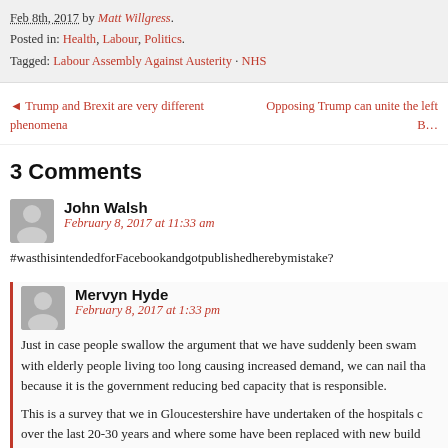Feb 8th, 2017 by Matt Willgress. Posted in: Health, Labour, Politics. Tagged: Labour Assembly Against Austerity · NHS
◄ Trump and Brexit are very different phenomena
Opposing Trump can unite the left B…
3 Comments
John Walsh
February 8, 2017 at 11:33 am
#wasthisintendedforFacebookandgotpublishedherebymistake?
Mervyn Hyde
February 8, 2017 at 1:33 pm
Just in case people swallow the argument that we have suddenly been swam with elderly people living too long causing increased demand, we can nail tha because it is the government reducing bed capacity that is responsible.
This is a survey that we in Gloucestershire have undertaken of the hospitals c over the last 20-30 years and where some have been replaced with new build new was only half the original capacity of the previous hospital.